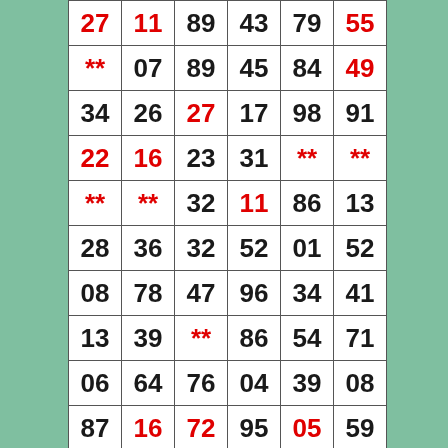| 27 | 11 | 89 | 43 | 79 | 55 |
| ** | 07 | 89 | 45 | 84 | 49 |
| 34 | 26 | 27 | 17 | 98 | 91 |
| 22 | 16 | 23 | 31 | ** | ** |
| ** | ** | 32 | 11 | 86 | 13 |
| 28 | 36 | 32 | 52 | 01 | 52 |
| 08 | 78 | 47 | 96 | 34 | 41 |
| 13 | 39 | ** | 86 | 54 | 71 |
| 06 | 64 | 76 | 04 | 39 | 08 |
| 87 | 16 | 72 | 95 | 05 | 59 |